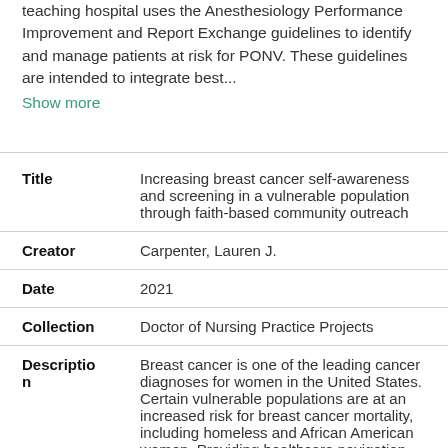teaching hospital uses the Anesthesiology Performance Improvement and Report Exchange guidelines to identify and manage patients at risk for PONV. These guidelines are intended to integrate best... Show more
| Field | Value |
| --- | --- |
| Title | Increasing breast cancer self-awareness and screening in a vulnerable population through faith-based community outreach |
| Creator | Carpenter, Lauren J. |
| Date | 2021 |
| Collection | Doctor of Nursing Practice Projects |
| Description | Breast cancer is one of the leading cancer diagnoses for women in the United States. Certain vulnerable populations are at an increased risk for breast cancer mortality, including homeless and African American women. Providing healthcare navigation, |